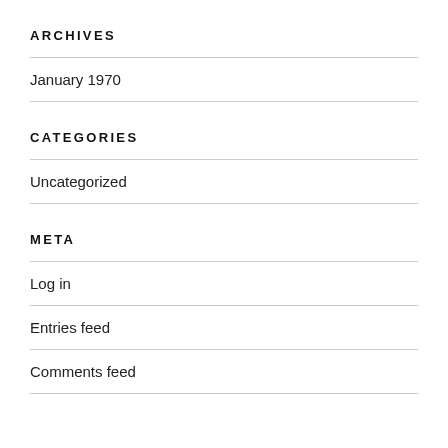ARCHIVES
January 1970
CATEGORIES
Uncategorized
META
Log in
Entries feed
Comments feed